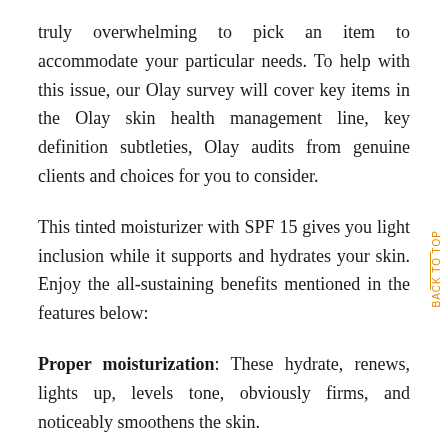truly overwhelming to pick an item to accommodate your particular needs. To help with this issue, our Olay survey will cover key items in the Olay skin health management line, key definition subtleties, Olay audits from genuine clients and choices for you to consider.
This tinted moisturizer with SPF 15 gives you light inclusion while it supports and hydrates your skin. Enjoy the all-sustaining benefits mentioned in the features below:
Proper moisturization: These hydrate, renews, lights up, levels tone, obviously firms, and noticeably smoothens the skin.